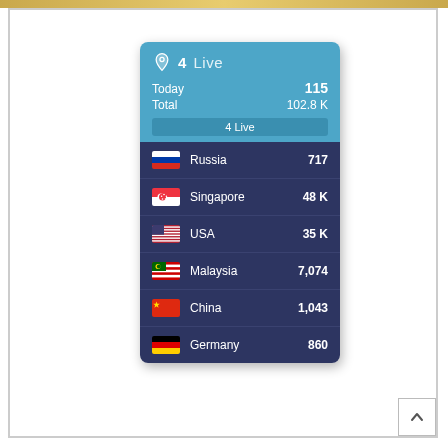[Figure (infographic): Live visitor counter widget showing today count 115, total 102.8K, and country breakdown: Russia 717, Singapore 48K, USA 35K, Malaysia 7074, China 1043, Germany 860]